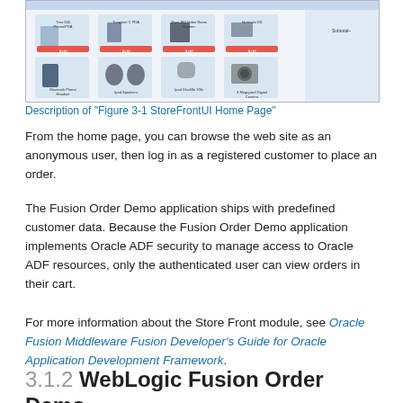[Figure (screenshot): Screenshot of StoreFrontUI Home Page showing a web store with product listings including phones, PDAs, gaming systems, speakers, and cameras with Add buttons and prices.]
Description of "Figure 3-1 StoreFrontUI Home Page"
From the home page, you can browse the web site as an anonymous user, then log in as a registered customer to place an order.
The Fusion Order Demo application ships with predefined customer data. Because the Fusion Order Demo application implements Oracle ADF security to manage access to Oracle ADF resources, only the authenticated user can view orders in their cart.
For more information about the Store Front module, see Oracle Fusion Middleware Fusion Developer's Guide for Oracle Application Development Framework.
3.1.2 WebLogic Fusion Order Demo